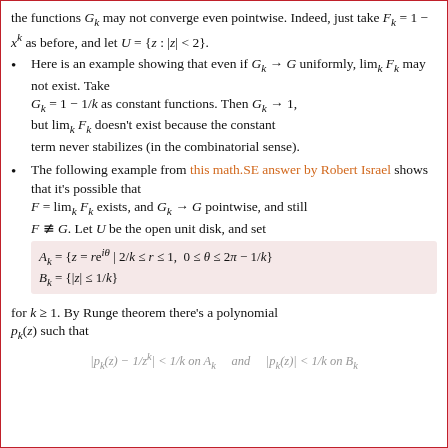the functions G_k may not converge even pointwise. Indeed, just take F_k = 1 − x^k as before, and let U = {z : |z| < 2}.
Here is an example showing that even if G_k → G uniformly, lim_k F_k may not exist. Take G_k = 1 − 1/k as constant functions. Then G_k → 1, but lim_k F_k doesn't exist because the constant term never stabilizes (in the combinatorial sense).
The following example from this math.SE answer by Robert Israel shows that it's possible that F = lim_k F_k exists, and G_k → G pointwise, and still F ≠ G. Let U be the open unit disk, and set A_k = {z = re^{iθ} | 2/k ≤ r ≤ 1, 0 ≤ θ ≤ 2π − 1/k} B_k = {|z| ≤ 1/k}
for k ≥ 1. By Runge theorem there's a polynomial p_k(z) such that
|p_k(z) − 1/z^k| < 1/k on A_k   and   |p_k(z)| < 1/k on B_k